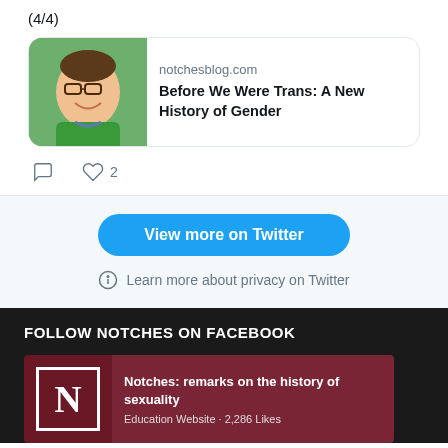(4/4)
[Figure (screenshot): Twitter link card showing a photo of a smiling man with glasses in a green sweater, linking to notchesblog.com article 'Before We Were Trans: A New History of Gender']
notchesblog.com
Before We Were Trans: A New History of Gender
2
View more on Twitter
Learn more about privacy on Twitter
FOLLOW NOTCHES ON FACEBOOK
[Figure (screenshot): Facebook page card for 'Notches: remarks on the history of sexuality', Education Website · 2,286 Likes]